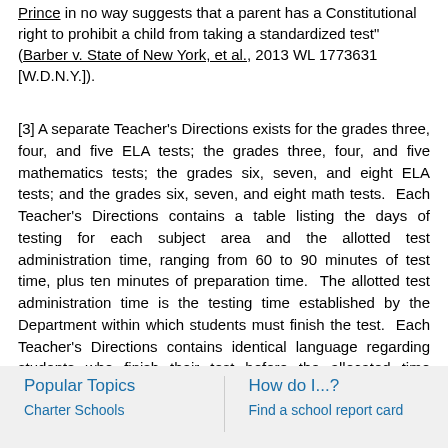Prince in no way suggests that a parent has a Constitutional right to prohibit a child from taking a standardized test" (Barber v. State of New York, et al., 2013 WL 1773631 [W.D.N.Y.]).
[3] A separate Teacher's Directions exists for the grades three, four, and five ELA tests; the grades three, four, and five mathematics tests; the grades six, seven, and eight ELA tests; and the grades six, seven, and eight math tests. Each Teacher's Directions contains a table listing the days of testing for each subject area and the allotted test administration time, ranging from 60 to 90 minutes of test time, plus ten minutes of preparation time. The allotted test administration time is the testing time established by the Department within which students must finish the test. Each Teacher's Directions contains identical language regarding students who finish their test before the allocated time expires.
Popular Topics
How do I...?
Charter Schools
Find a school report card